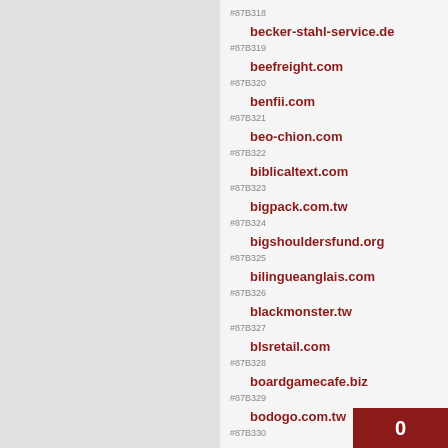#87B318
#87B319 becker-stahl-service.de
#87B320 beefreight.com
#87B321 benfii.com
#87B322 beo-chion.com
#87B323 biblicaltext.com
#87B324 bigpack.com.tw
#87B325 bigshouldersfund.org
#87B326 bilingueanglais.com
#87B327 blackmonster.tw
#87B328 blsretail.com
#87B329 boardgamecafe.biz
#87B330 bodogo.com.tw